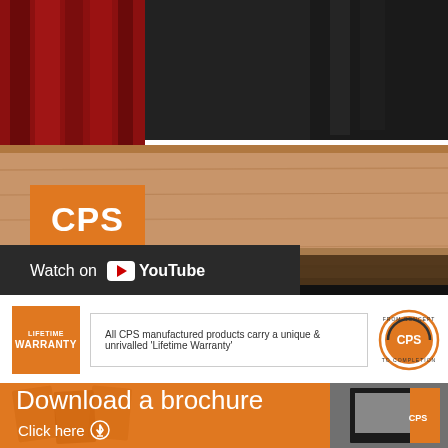[Figure (photo): Theatre stage photo with red curtain on left, dark backdrop, wooden stage floor. CPS orange logo box overlaid bottom-left. YouTube 'Watch on YouTube' bar overlaid at bottom.]
All CPS manufactured products carry a unique & unrivalled 'Lifetime Warranty'
Download a brochure
Click here